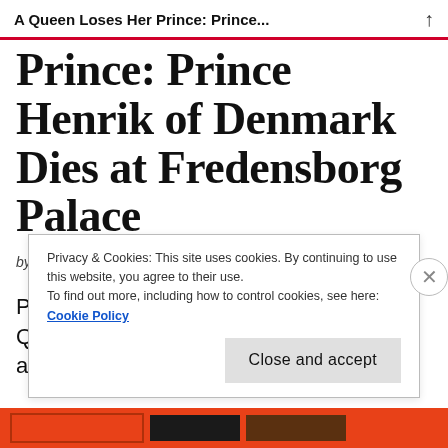A Queen Loses Her Prince: Prince...
Prince: Prince Henrik of Denmark Dies at Fredensborg Palace
by  14 Feb 2018  Leave a Comment
Prince Henrik of Denmark husband of Queen Margrethe II of Denmark has died at Fredensborg
Privacy & Cookies: This site uses cookies. By continuing to use this website, you agree to their use.
To find out more, including how to control cookies, see here: Cookie Policy
Close and accept